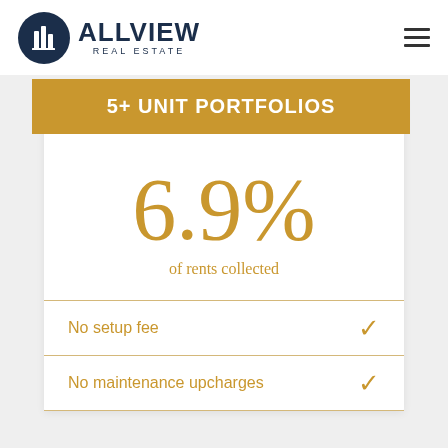[Figure (logo): Allview Real Estate logo with circular dark blue building icon and company name]
5+ UNIT PORTFOLIOS
6.9%
of rents collected
No setup fee ✓
No maintenance upcharges ✓